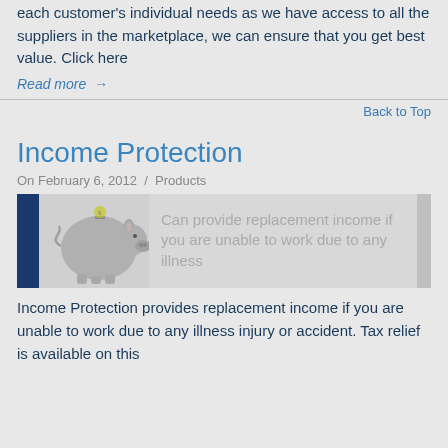each customer's individual needs as we have access to all the suppliers in the marketplace, we can ensure that you get best value. Click here
Read more →
Back to Top
Income Protection
On February 6, 2012  /  Products
[Figure (illustration): Piggy bank illustration with text: Can provide replacement income if you are unable to work due to any illness]
Income Protection provides replacement income if you are unable to work due to any illness injury or accident. Tax relief is available on this